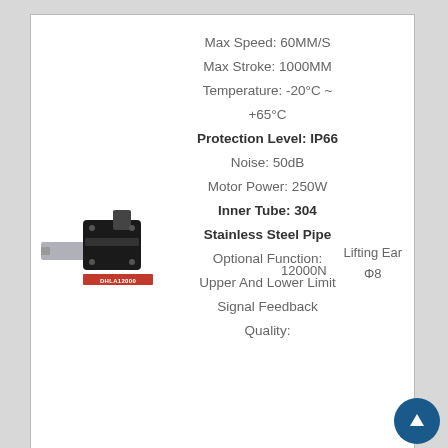Max Speed: 60MM/S
Max Stroke: 1000MM
Temperature: -20°C ~ +65°C
Protection Level: IP66
Noise: 50dB
Motor Power: 250W
12000N
Lifting Ear Φ8
Inner Tube: 304 Stainless Steel Pipe
Optional Function:
Upper And Lower Limit
Signal Feedback
Quality:
[Figure (photo): Linear actuator DHLA12000 product photo with motor housing and extending rod, red label showing model name DHLA12000]